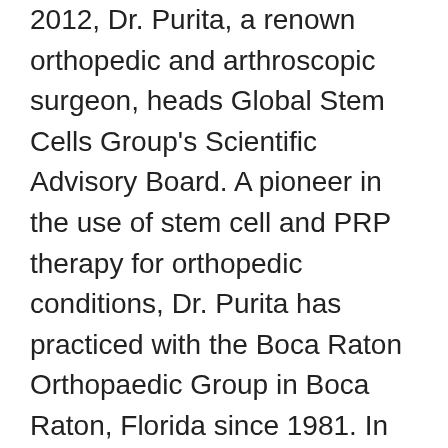2012, Dr. Purita, a renown orthopedic and arthroscopic surgeon, heads Global Stem Cells Group's Scientific Advisory Board. A pioneer in the use of stem cell and PRP therapy for orthopedic conditions, Dr. Purita has practiced with the Boca Raton Orthopaedic Group in Boca Raton, Florida since 1981. In 2012, Purita gained international attention when he treated New York Yankees pitcher Bartolo Colon's ligament damage with stem cells, restoring the athlete's injured shoulder and career. Purita has since treated an array of professional athletes with career-threatening injuries. Dr. Purita is the director of the Institute of Regenerative and Molecular Orthopedics in Boca Raton, Florida, specializing in the use of stem cells and PRP injections for use in sports medicine and